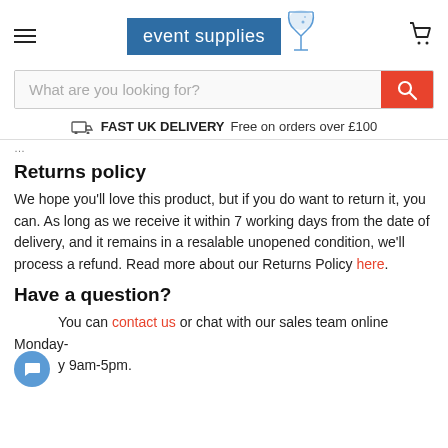event supplies [logo with champagne glass]
What are you looking for?
FAST UK DELIVERY  Free on orders over £100
Returns policy
We hope you'll love this product, but if you do want to return it, you can. As long as we receive it within 7 working days from the date of delivery, and it remains in a resalable unopened condition, we'll process a refund. Read more about our Returns Policy here.
Have a question?
You can contact us or chat with our sales team online Monday- y 9am-5pm.